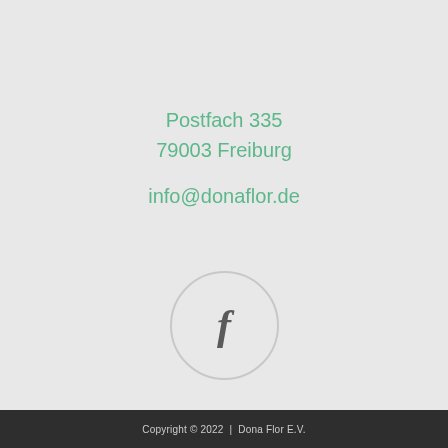Postfach 335
79003 Freiburg

info@donaflor.de
[Figure (illustration): Facebook icon: a circle outline containing a lowercase italic bold 'f' in dark grey]
Copyright © 2022  |  Dona Flor E.V.